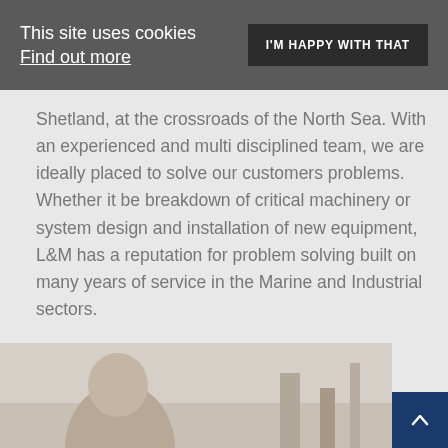This site uses cookies Find out more
I'M HAPPY WITH THAT
Shetland, at the crossroads of the North Sea. With an experienced and multi disciplined team, we are ideally placed to solve our customers problems. Whether it be breakdown of critical machinery or system design and installation of new equipment, L&M has a reputation for problem solving built on many years of service in the Marine and Industrial sectors.
READ MORE
[Figure (photo): Photo of a person (back of head visible) in an industrial or marine environment]